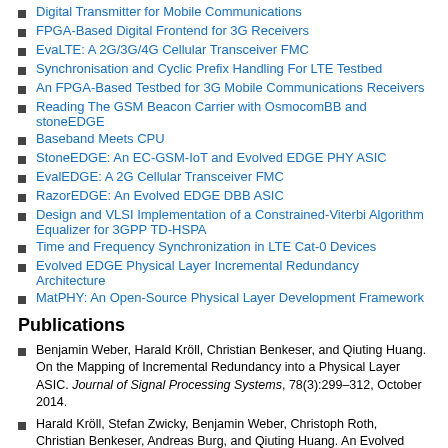Digital Transmitter for Mobile Communications
FPGA-Based Digital Frontend for 3G Receivers
EvaLTE: A 2G/3G/4G Cellular Transceiver FMC
Synchronisation and Cyclic Prefix Handling For LTE Testbed
An FPGA-Based Testbed for 3G Mobile Communications Receivers
Reading The GSM Beacon Carrier with OsmocomBB and stoneEDGE
Baseband Meets CPU
StoneEDGE: An EC-GSM-IoT and Evolved EDGE PHY ASIC
EvalEDGE: A 2G Cellular Transceiver FMC
RazorEDGE: An Evolved EDGE DBB ASIC
Design and VLSI Implementation of a Constrained-Viterbi Algorithm Equalizer for 3GPP TD-HSPA
Time and Frequency Synchronization in LTE Cat-0 Devices
Evolved EDGE Physical Layer Incremental Redundancy Architecture
MatPHY: An Open-Source Physical Layer Development Framework
Publications
Benjamin Weber, Harald Kröll, Christian Benkeser, and Qiuting Huang. On the Mapping of Incremental Redundancy into a Physical Layer ASIC. Journal of Signal Processing Systems, 78(3):299–312, October 2014.
Harald Kröll, Stefan Zwicky, Benjamin Weber, Christoph Roth, Christian Benkeser, Andreas Burg, and Qiuting Huang. An Evolved EDGE PHY ASIC Supporting Soft-Output Equalization and Rx Diversity. In IEEE 40th European Solic-State Circuits Conference (ESSCIRC), Venice, Italy, September 2014.
Stefan Zwicky, Harald Kröll, Benjamin Weber, and Qiuting Huang. Prototyping Platform for Evolved EDGE ASICs. In Workshop on Testbeds and Prototypes for Applied Research in Communications